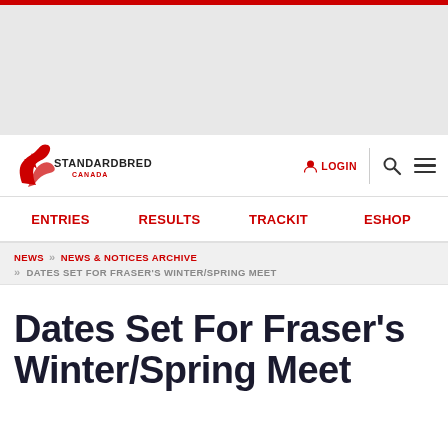[Figure (logo): Standardbred Canada website screenshot with logo, navigation, and article title]
STANDARDBRED CANADA
LOGIN
ENTRIES   RESULTS   TRACKIT   ESHOP
NEWS >> NEWS & NOTICES ARCHIVE >> DATES SET FOR FRASER'S WINTER/SPRING MEET
Dates Set For Fraser's Winter/Spring Meet